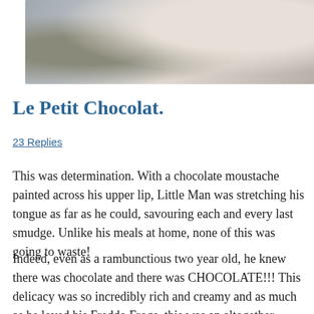[Figure (photo): Photo of a person holding a baby or child in a white outfit, with wrapped gift bags visible in the background]
Le Petit Chocolat.
23 Replies
This was determination. With a chocolate moustache painted across his upper lip, Little Man was stretching his tongue as far as he could, savouring each and every last smudge. Unlike his meals at home, none of this was going to waste!
Indeed, even as a rambunctious two year old, he knew there was chocolate and there was CHOCOLATE!!! This delicacy was so incredibly rich and creamy and as much as he loved his Freddo Frogs, this was an altogether different experience.